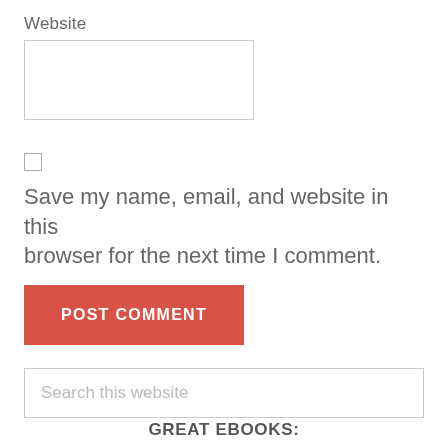Website
[Figure (other): Empty text input box for website URL]
[Figure (other): Unchecked checkbox]
Save my name, email, and website in this browser for the next time I comment.
[Figure (other): POST COMMENT button in red/coral color]
[Figure (other): Search this website input field]
GREAT EBOOKS: